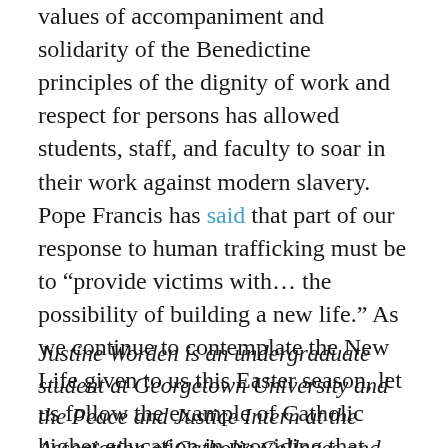values of accompaniment and solidarity of the Benedictine principles of the dignity of work and respect for persons has allowed students, staff, and faculty to soar in their work against modern slavery. Pope Francis has said that part of our response to human trafficking must be to “provide victims with… the possibility of building a new life.” As we continue to contemplate the New Life given to us this Easter season, let us follow the example of Catholic higher education in providing that new life for our sisters and brothers in modern slavery.
Justine Worden is an undergraduate student at Georgetown University and the Peace and Justice Intern at the Association of Catholic Colleges and